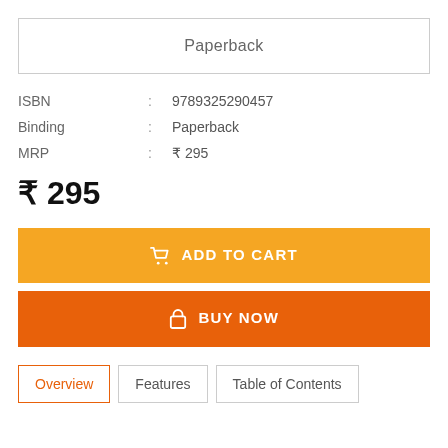Paperback
| ISBN | : | 9789325290457 |
| Binding | : | Paperback |
| MRP | : | ₹ 295 |
₹ 295
ADD TO CART
BUY NOW
Overview
Features
Table of Contents